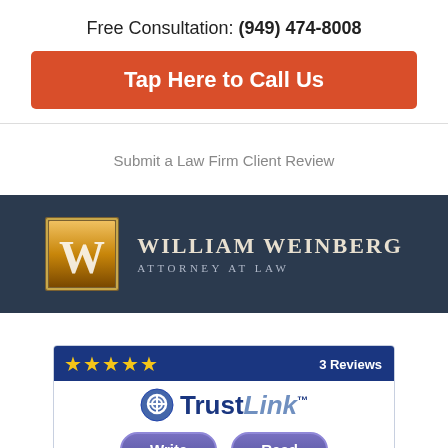Free Consultation: (949) 474-8008
Tap Here to Call Us
Submit a Law Firm Client Review
[Figure (logo): William Weinberg Attorney at Law logo on dark navy background with golden W icon]
[Figure (infographic): TrustLink badge showing 4 gold stars, 3 Reviews, TrustLink logo, Write and Read buttons]